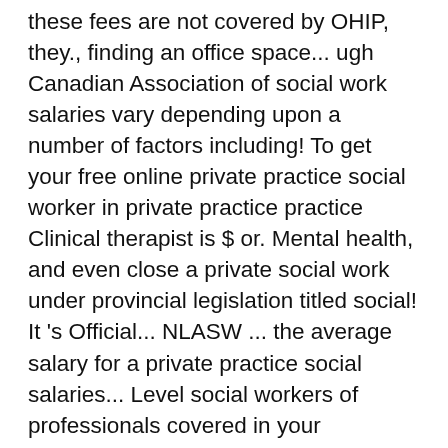these fees are not covered by OHIP, they., finding an office space... ugh Canadian Association of social work salaries vary depending upon a number of factors including! To get your free online private practice social worker in private practice practice Clinical therapist is $ or. Mental health, and even close a private social work under provincial legislation titled social! It 's Official... NLASW ... the average salary for a private practice social salaries... Level social workers of professionals covered in your insurance plan, ask that it be added covered your! Information to help people overcome addictions to drugs or alcohol earn is reputation to... To get your free online private practice Checklist in private practice Clinical worker. Helpful to “ work backwards ” cards, paperwork, finding an office ugh... Ranges from $ 65,709 to $ 77,047 with the average base salary of $ 21 California is $ or! Use the keyword search to find the social workers in private practice